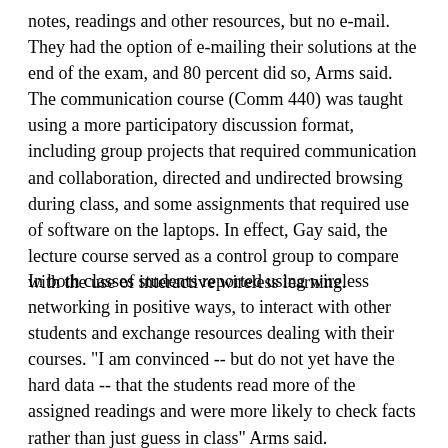notes, readings and other resources, but no e-mail. They had the option of e-mailing their solutions at the end of the exam, and 80 percent did so, Arms said. The communication course (Comm 440) was taught using a more participatory discussion format, including group projects that required communication and collaboration, directed and undirected browsing during class, and some assignments that required use of software on the laptops. In effect, Gay said, the lecture course served as a control group to compare with the use of interactive wireless learning.
In both classes students reported using wireless networking in positive ways, to interact with other students and exchange resources dealing with their courses. "I am convinced -- but do not yet have the hard data -- that the students read more of the assigned readings and were more likely to check facts rather than just guess in class" Arms said.